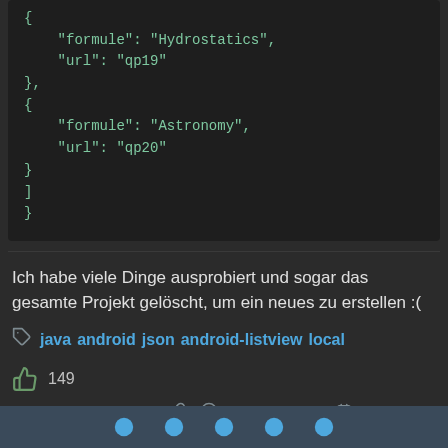[Figure (screenshot): Code block showing JSON with formule and url fields for Hydrostatics and Astronomy entries]
Ich habe viele Dinge ausprobiert und sogar das gesamte Projekt gelöscht, um ein neues zu erstellen :(
java  android  json  android-listview  local
149
theWildSushai  13.11.2013